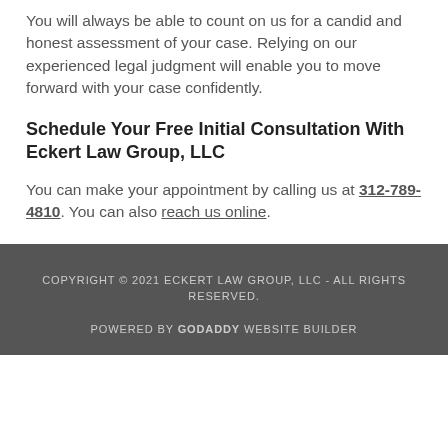You will always be able to count on us for a candid and honest assessment of your case. Relying on our experienced legal judgment will enable you to move forward with your case confidently.
Schedule Your Free Initial Consultation With Eckert Law Group, LLC
You can make your appointment by calling us at 312-789-4810. You can also reach us online.
COPYRIGHT © 2021 ECKERT LAW GROUP, LLC - ALL RIGHTS RESERVED. POWERED BY GODADDY WEBSITE BUILDER